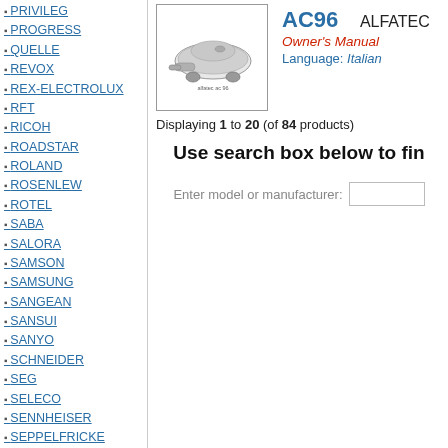PRIVILEG
PROGRESS
QUELLE
REVOX
REX-ELECTROLUX
RFT
RICOH
ROADSTAR
ROLAND
ROSENLEW
ROTEL
SABA
SALORA
SAMSON
SAMSUNG
SANGEAN
SANSUI
SANYO
SCHNEIDER
SEG
SELECO
SENNHEISER
SEPPELFRICKE
SHARP
SHERWOOD
SHURE
[Figure (illustration): Product image of AC96 vacuum cleaner]
AC96   ALFATEC
Owner's Manual
Language: Italian
Displaying 1 to 20 (of 84 products)
Use search box below to fin
Enter model or manufacturer: